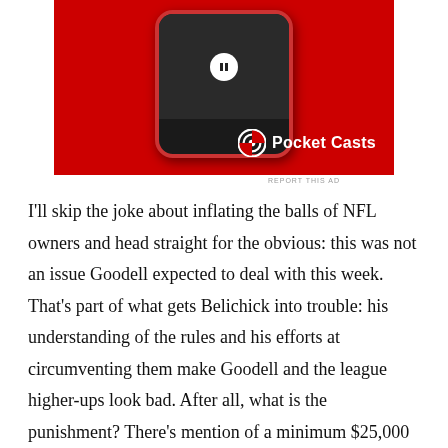[Figure (photo): Advertisement image showing a red smartphone with Pocket Casts app interface displayed, on a red background. The Pocket Casts logo and name appear in the bottom right corner.]
REPORT THIS AD
I'll skip the joke about inflating the balls of NFL owners and head straight for the obvious: this was not an issue Goodell expected to deal with this week. That's part of what gets Belichick into trouble: his understanding of the rules and his efforts at circumventing them make Goodell and the league higher-ups look bad. After all, what is the punishment? There's mention of a minimum $25,000 fine. Goodell will increase that, because